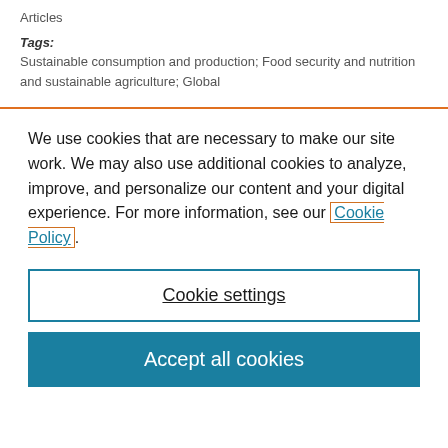Articles
Tags:
Sustainable consumption and production; Food security and nutrition and sustainable agriculture;  Global
We use cookies that are necessary to make our site work. We may also use additional cookies to analyze, improve, and personalize our content and your digital experience. For more information, see our Cookie Policy.
Cookie settings
Accept all cookies